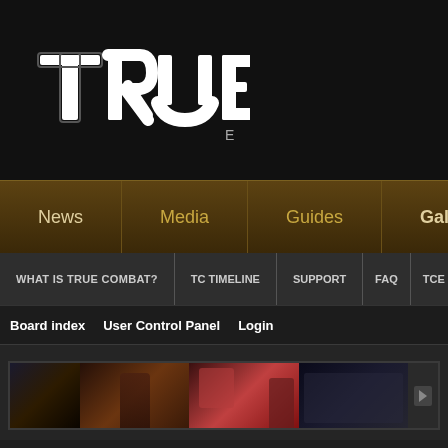[Figure (logo): TRUE combat logo in white outlined blocky futuristic font on dark background]
News
Media
Guides
Gallery
WHAT IS TRUE COMBAT?
TC TIMELINE
SUPPORT
FAQ
TCE S
Board index  User Control Panel  Login
[Figure (screenshot): Gallery strip showing game character images with dark framing]